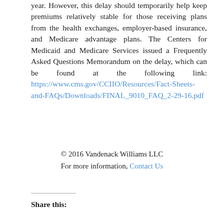year. However, this delay should temporarily help keep premiums relatively stable for those receiving plans from the health exchanges, employer-based insurance, and Medicare advantage plans. The Centers for Medicaid and Medicare Services issued a Frequently Asked Questions Memorandum on the delay, which can be found at the following link: https://www.cms.gov/CCIIO/Resources/Fact-Sheets-and-FAQs/Downloads/FINAL_9010_FAQ_2-29-16.pdf
© 2016 Vandenack Williams LLC
For more information, Contact Us
Share this: